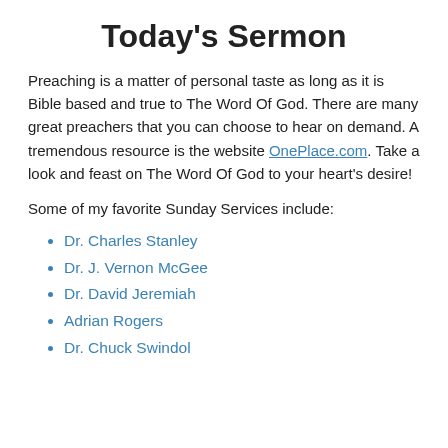Today's Sermon
Preaching is a matter of personal taste as long as it is Bible based and true to The Word Of God. There are many great preachers that you can choose to hear on demand. A tremendous resource is the website OnePlace.com. Take a look and feast on The Word Of God to your heart's desire!
Some of my favorite Sunday Services include:
Dr. Charles Stanley
Dr. J. Vernon McGee
Dr. David Jeremiah
Adrian Rogers
Dr. Chuck Swindol